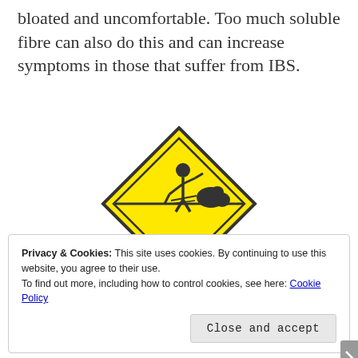bloated and uncomfortable. Too much soluble fibre can also do this and can increase symptoms in those that suffer from IBS.
[Figure (illustration): Yellow diamond-shaped warning sign with black border showing a stick figure person vomiting, with motion lines indicating nausea/vomiting. Two horizontal lines cross the center of the diamond.]
Privacy & Cookies: This site uses cookies. By continuing to use this website, you agree to their use.
To find out more, including how to control cookies, see here: Cookie Policy